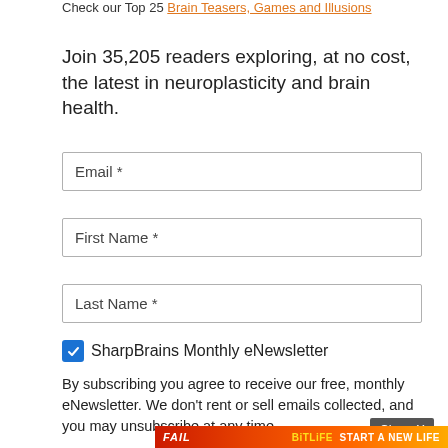Check our Top 25 Brain Teasers, Games and Illusions
Join 35,205 readers exploring, at no cost, the latest in neuroplasticity and brain health.
Email *
First Name *
Last Name *
SharpBrains Monthly eNewsletter
By subscribing you agree to receive our free, monthly eNewsletter. We don't rent or sell emails collected, and you may unsubscribe at any time.
[Figure (screenshot): Close X button and BitLife advertisement banner with 'FAIL' text, cartoon character, fire, and 'START A NEW LIFE' text]